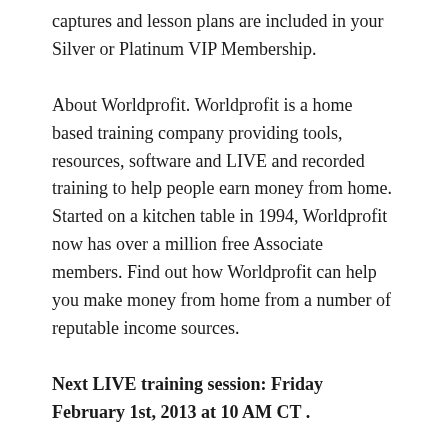captures and lesson plans are included in your Silver or Platinum VIP Membership.
About Worldprofit. Worldprofit is a home based training company providing tools, resources, software and LIVE and recorded training to help people earn money from home. Started on a kitchen table in 1994, Worldprofit now has over a million free Associate members. Find out how Worldprofit can help you make money from home from a number of reputable income sources.
Next LIVE training session: Friday February 1st, 2013 at 10 AM CT .